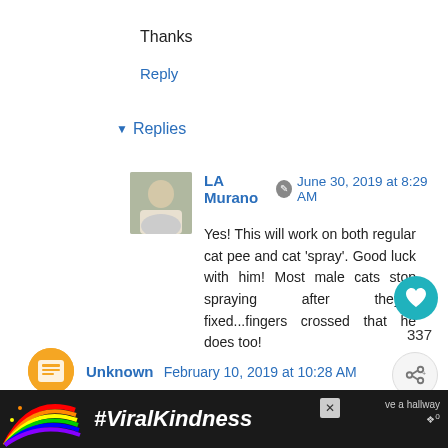Thanks
Reply
▾ Replies
LA Murano  June 30, 2019 at 8:29 AM
Yes! This will work on both regular cat pee and cat 'spray'. Good luck with him! Most male cats stop spraying after they're fixed...fingers crossed that he does too!

Lisa
Reply
Unknown  February 10, 2019 at 10:28 AM
[Figure (infographic): #ViralKindness advertisement banner with rainbow illustration at bottom of page]